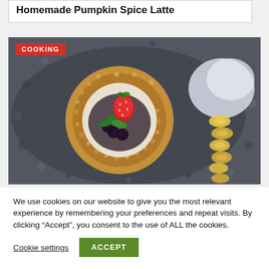Homemade Pumpkin Spice Latte
[Figure (photo): Close-up photo of a round pastry/dessert topped with a strawberry, blackberries, and mint leaves on a decorative plate, with banana slices beside it. A red 'COOKING' badge overlays the top-left corner of the image.]
We use cookies on our website to give you the most relevant experience by remembering your preferences and repeat visits. By clicking “Accept”, you consent to the use of ALL the cookies.
Cookie settings
ACCEPT